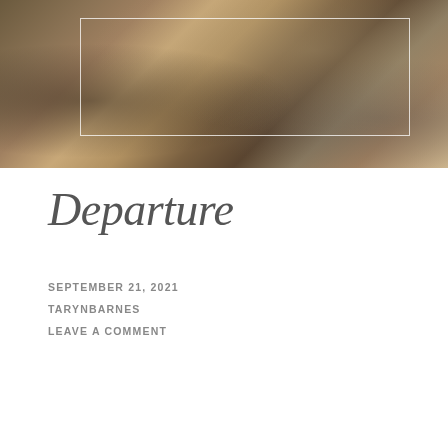[Figure (photo): Close-up photo of luggage/travel bags at an airport, with a white rectangular overlay border on the right portion of the image]
Departure
SEPTEMBER 21, 2021
TARYNBARNES
LEAVE A COMMENT
[Figure (photo): Airport interior photo with large glass windows and stone columns, showing a person standing and watching an airplane fly past outside]